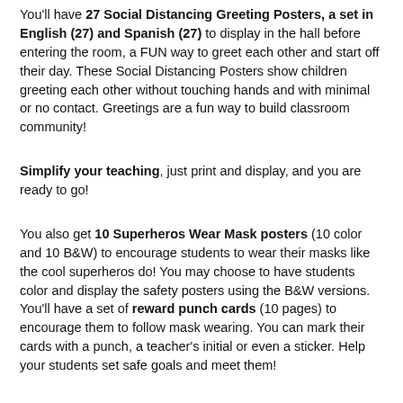You'll have 27 Social Distancing Greeting Posters, a set in English (27) and Spanish (27) to display in the hall before entering the room, a FUN way to greet each other and start off their day. These Social Distancing Posters show children greeting each other without touching hands and with minimal or no contact. Greetings are a fun way to build classroom community!
Simplify your teaching, just print and display, and you are ready to go!
You also get 10 Superheros Wear Mask posters (10 color and 10 B&W) to encourage students to wear their masks like the cool superheros do! You may choose to have students color and display the safety posters using the B&W versions. You'll have a set of reward punch cards (10 pages) to encourage them to follow mask wearing. You can mark their cards with a punch, a teacher's initial or even a sticker. Help your students set safe goals and meet them!